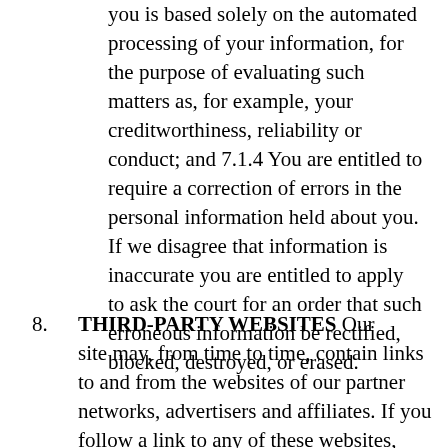you is based solely on the automated processing of your information, for the purpose of evaluating such matters as, for example, your creditworthiness, reliability or conduct; and 7.1.4 You are entitled to require a correction of errors in the personal information held about you. If we disagree that information is inaccurate you are entitled to apply to ask the court for an order that such erroneous information be rectified, blocked, destroyed, or erased.
8. THIRD-PARTY WEBSITES Our site may, from time to time, contain links to and from the websites of our partner networks, advertisers and affiliates. If you follow a link to any of these websites, please note that